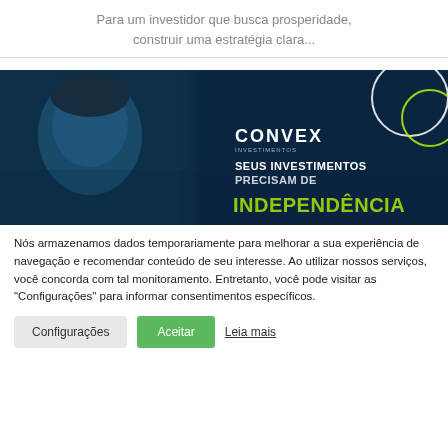Para um investidor que busca prosperidade, construir uma estratégia clara...
[Figure (illustration): Convex Investimentos advertisement banner showing a man's face on a dark navy background with text 'CONVEX', 'SEUS INVESTIMENTOS PRECISAM DE INDEPENDÊNCIA' and decorative circles in top right corner.]
Nós armazenamos dados temporariamente para melhorar a sua experiência de navegação e recomendar conteúdo de seu interesse. Ao utilizar nossos serviços, você concorda com tal monitoramento. Entretanto, você pode visitar as "Configurações" para informar consentimentos específicos.
Configurações   Aceitar   Leia mais